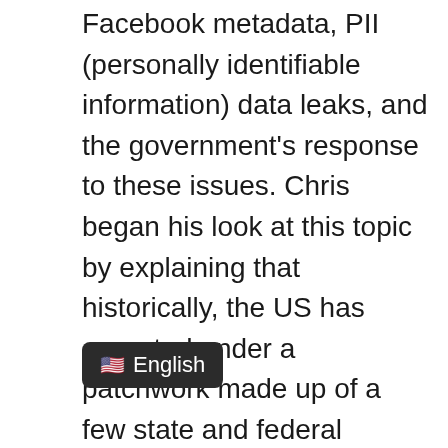Facebook metadata, PII (personally identifiable information) data leaks, and the government's response to these issues. Chris began his look at this topic by explaining that historically, the US has operated under a patchwork made up of a few state and federal sector-specific compliance rule laws. A common example is HIPAA (Health Insurance Portability and Accountability Act) as it applies to TPAs (Third-Party Administrators). However, the US has never had a single federal comprehensive privacy law.
Chris continued, “Right now at the state level, th[e] [momen]tum for comprehensive privacy b[ills is n]ow at an all-time high after the